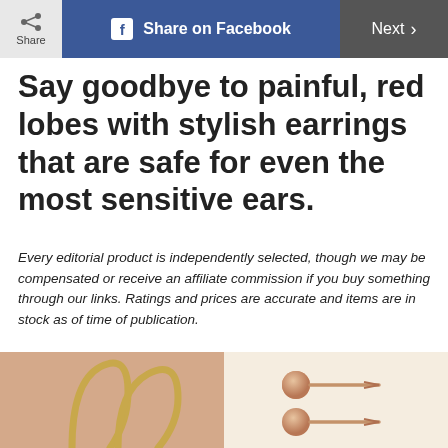Share | Share on Facebook | Next >
Say goodbye to painful, red lobes with stylish earrings that are safe for even the most sensitive ears.
Every editorial product is independently selected, though we may be compensated or receive an affiliate commission if you buy something through our links. Ratings and prices are accurate and items are in stock as of time of publication.
[Figure (photo): Two panels side by side: left panel shows close-up of gold wire hoop earrings on a peach/terracotta background; right panel shows two rose gold ball stud earrings on a cream/ivory background.]